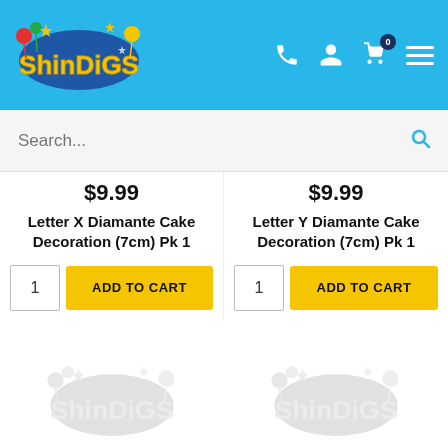[Figure (logo): Shindigs colorful party logo on blue header background with icons]
Search...
$9.99
Letter X Diamante Cake Decoration (7cm) Pk 1
ADD TO CART
$9.99
Letter Y Diamante Cake Decoration (7cm) Pk 1
ADD TO CART
[Figure (logo): Shindigs gray placeholder logo - left product]
[Figure (logo): Shindigs gray placeholder logo - right product]